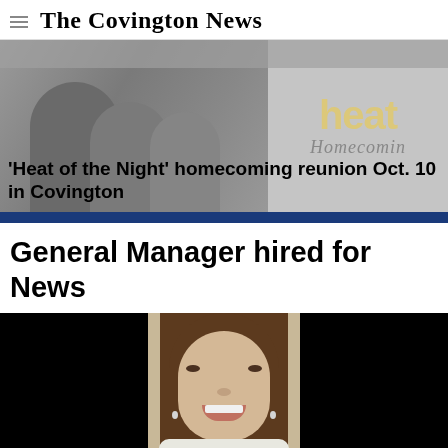The Covington News
[Figure (photo): Hero banner image showing a person on the left side with a film/TV still, and 'heat Homecoming' text logo on the right side against a light background]
'Heat of the Night' homecoming reunion Oct. 10 in Covington
General Manager hired for News
[Figure (photo): Portrait photo of a smiling young woman with long brown hair, wearing a light-colored top, against a beige background. Black panels flank both sides of the portrait.]